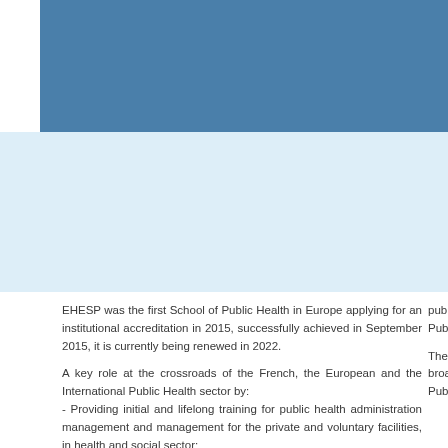[Figure (other): Blue header background bar at top of page, partially visible]
EHESP was the first School of Public Health in Europe applying for an institutional accreditation in 2015, successfully achieved in September 2015, it is currently being renewed in 2022.

A key role at the crossroads of the French, the European and the International Public Health sector by:
- Providing initial and lifelong training for public health administration management and management for the private and voluntary facilities, in health and social sector;
- Delivering higher education in public health
public health te in the developm for the Public updated ever foundations of.

The recommen was extremely p to the broade School practice intended to be Public Health w regarding EHES